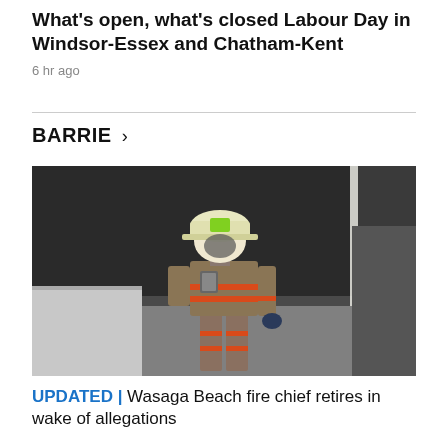What's open, what's closed Labour Day in Windsor-Essex and Chatham-Kent
6 hr ago
BARRIE >
[Figure (photo): A firefighter in full gear including a white helmet with green markings, wearing a tan/brown fire suit with orange reflective stripes, standing in front of a dark smoky background near a building structure.]
UPDATED | Wasaga Beach fire chief retires in wake of allegations